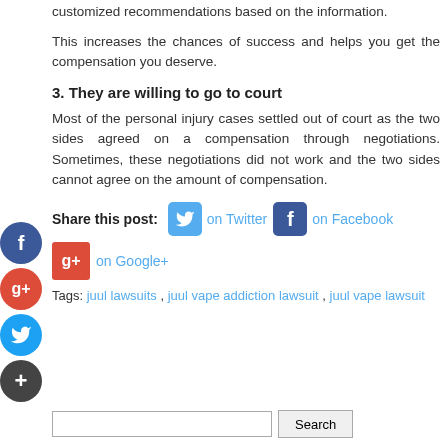customized recommendations based on the information.
This increases the chances of success and helps you get the compensation you deserve.
3. They are willing to go to court
Most of the personal injury cases settled out of court as the two sides agreed on a compensation through negotiations. Sometimes, these negotiations did not work and the two sides cannot agree on the amount of compensation.
Share this post:   on Twitter   on Facebook   on Google+
Tags: juul lawsuits , juul vape addiction lawsuit , juul vape lawsuit